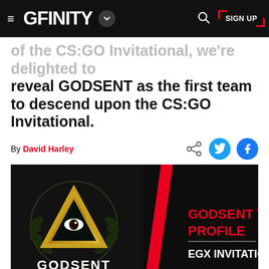GFINITY — Navigation bar with logo, search, and SIGN UP button
of the CS:GO Invitational, we're delighted to reveal GODSENT as the first team to descend upon the CS:GO Invitational.
By David Harley
[Figure (photo): GODSENT team profile banner image showing the GODSENT logo (gold triangle with eye, surrounded by laurel wreath) on a dark background with a red diagonal stripe, and text reading GODSENT TEAM PROFILE / EGX INVITATIONAL]